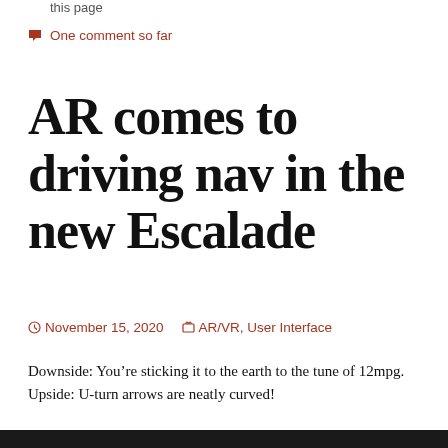this page
One comment so far
AR comes to driving nav in the new Escalade
November 15, 2020   AR/VR, User Interface
Downside: You’re sticking it to the earth to the tune of 12mpg.
Upside: U-turn arrows are neatly curved!